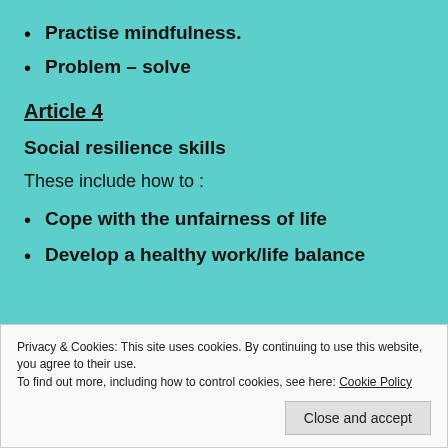Practise mindfulness.
Problem – solve
Article 4
Social resilience skills
These include how to :
Cope with the unfairness of life
Develop a healthy work/life balance
Privacy & Cookies: This site uses cookies. By continuing to use this website, you agree to their use.
To find out more, including how to control cookies, see here: Cookie Policy
Close and accept